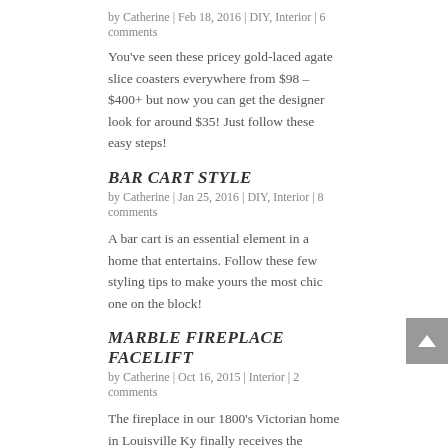by Catherine | Feb 18, 2016 | DIY, Interior | 6 comments
You've seen these pricey gold-laced agate slice coasters everywhere from $98 – $400+ but now you can get the designer look for around $35! Just follow these easy steps!
BAR CART STYLE
by Catherine | Jan 25, 2016 | DIY, Interior | 8 comments
A bar cart is an essential element in a home that entertains. Follow these few styling tips to make yours the most chic one on the block!
MARBLE FIREPLACE FACELIFT
by Catherine | Oct 16, 2015 | Interior | 2 comments
The fireplace in our 1800's Victorian home in Louisville Ky finally receives the marble update it deserves.